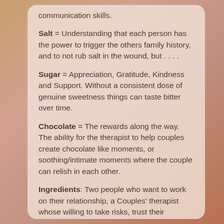communication skills.
Salt = Understanding that each person has the power to trigger the others family history, and to not rub salt in the wound, but . . . .
Sugar = Appreciation, Gratitude, Kindness and Support. Without a consistent dose of genuine sweetness things can taste bitter over time.
Chocolate = The rewards along the way. The ability for the therapist to help couples create chocolate like moments, or soothing/intimate moments where the couple can relish in each other.
Ingredients: Two people who want to work on their relationship, a Couples' therapist whose willing to take risks, trust their intuition, teach skills, model, practice timing of interventions, give creative assignments that are going to augment the process, use humor to lighten things up when appropriate.